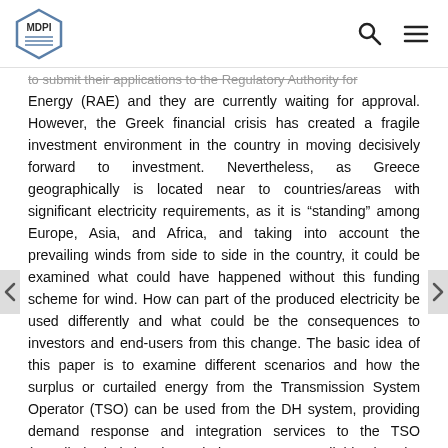MDPI
to submit their applications to the Regulatory Authority for Energy (RAE) and they are currently waiting for approval. However, the Greek financial crisis has created a fragile investment environment in the country in moving decisively forward to investment. Nevertheless, as Greece geographically is located near to countries/areas with significant electricity requirements, as it is “standing” among Europe, Asia, and Africa, and taking into account the prevailing winds from side to side in the country, it could be examined what could have happened without this funding scheme for wind. How can part of the produced electricity be used differently and what could be the consequences to investors and end-users from this change. The basic idea of this paper is to examine different scenarios and how the surplus or curtailed energy from the Transmission System Operator (TSO) can be used from the DH system, providing demand response and integration services to the TSO (curtailed wind, is when wind power was available, but the system operator for various reasons did not accept the wind power to be dispatched). The basic concept is based on the